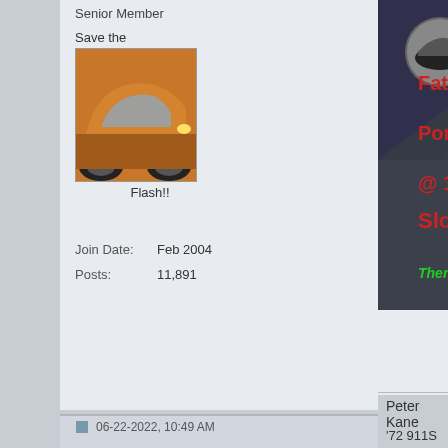Senior Member
Save the
[Figure (photo): Avatar image of an orange Porsche car, partially visible, with text 'Flash!!' below]
Join Date: Feb 2004
Posts: 11,891
[Figure (screenshot): Video thumbnail showing 'Colorado Highway' text, 'Fatal Accident in D...', 'Porsche 911 Turbo S', '@ 140 MPH - 2 Eje... Slow Down', 'There is nobody here to save you. I...' with a red rectangle overlay and a circular profile avatar]
Peter Kane
'72 911S Targa
Message Board Co-Moderato...
06-22-2022, 10:49 AM